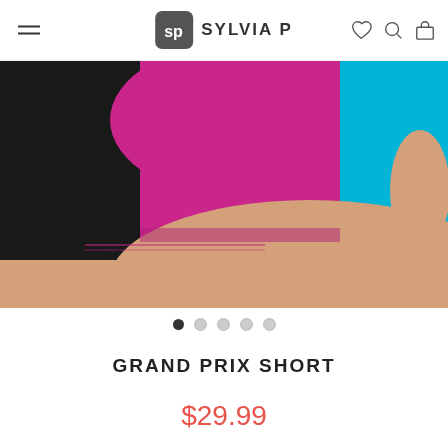SYLVIA P
[Figure (photo): Close-up photo of athletic shorts in black, magenta/pink, and cyan/turquoise colors worn by a model, showing the waistband area.]
GRAND PRIX SHORT
$29.99